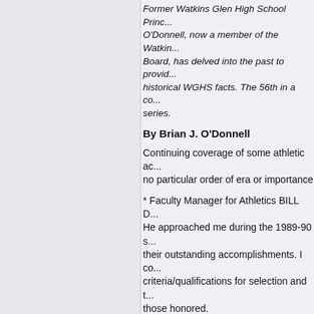Former Watkins Glen High School Princ... O'Donnell, now a member of the Watkin... Board, has delved into the past to provid... historical WGHS facts. The 56th in a co... series.
By Brian J. O'Donnell
Continuing coverage of some athletic ac... no particular order of era or importance
* Faculty Manager for Athletics BILL D... He approached me during the 1989-90 s... their outstanding accomplishments. I co... criteria/qualifications for selection and t... those honored.
CRITERIA FOR SELECTION...
- at least four years since high school gra...
- emphasis on CHARACTER-SPORTSM...
- consideration of League and/or State re...
- School recognition (Record Holder, Te...
- College athletic participation
- Adult athletic competition and/or coach...
(these criteria were to be factors in cons...